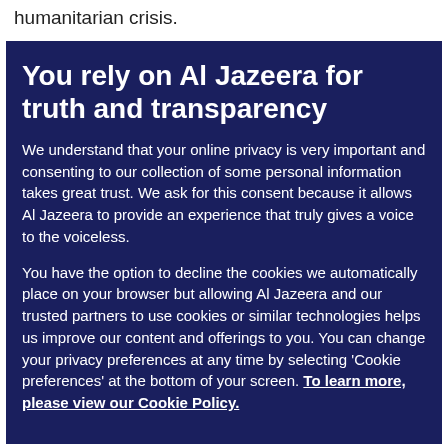humanitarian crisis.
You rely on Al Jazeera for truth and transparency
We understand that your online privacy is very important and consenting to our collection of some personal information takes great trust. We ask for this consent because it allows Al Jazeera to provide an experience that truly gives a voice to the voiceless.
You have the option to decline the cookies we automatically place on your browser but allowing Al Jazeera and our trusted partners to use cookies or similar technologies helps us improve our content and offerings to you. You can change your privacy preferences at any time by selecting 'Cookie preferences' at the bottom of your screen. To learn more, please view our Cookie Policy.